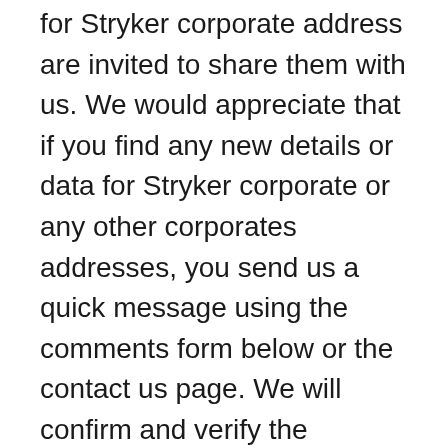for Stryker corporate address are invited to share them with us. We would appreciate that if you find any new details or data for Stryker corporate or any other corporates addresses, you send us a quick message using the comments form below or the contact us page. We will confirm and verify the information and publish it for the benefits of all users, for free.
Corporate-location.com is a high-quality website that has no affiliation with Stryker corporate or any federal or state department, agency, office, board, bureau, or commission.